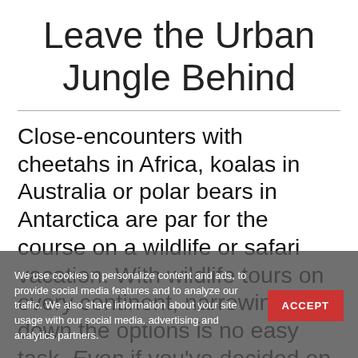Leave the Urban Jungle Behind
Close-encounters with cheetahs in Africa, koalas in Australia or polar bears in Antarctica are par for the course on a wildlife or safari vacation. With wildlife tours on every continent, narrowing down the options is no easy task. Even if you've decided on the continent, there's the pesky matter of which country
We use cookies to personalize content and ads, to provide social media features and to analyze our traffic. We also share information about your site usage with our social media, advertising and analytics partners.